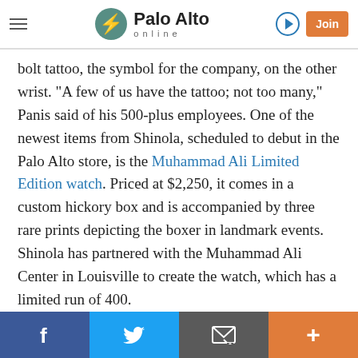Palo Alto online
bolt tattoo, the symbol for the company, on the other wrist. "A few of us have the tattoo; not too many," Panis said of his 500-plus employees. One of the newest items from Shinola, scheduled to debut in the Palo Alto store, is the Muhammad Ali Limited Edition watch. Priced at $2,250, it comes in a custom hickory box and is accompanied by three rare prints depicting the boxer in landmark events. Shinola has partnered with the Muhammad Ali Center in Louisville to create the watch, which has a limited run of 400.

The next tenant to open in the renovated building will be Sweetgreen, a fast casual East Coast-based salad
Facebook | Twitter | Email | Plus